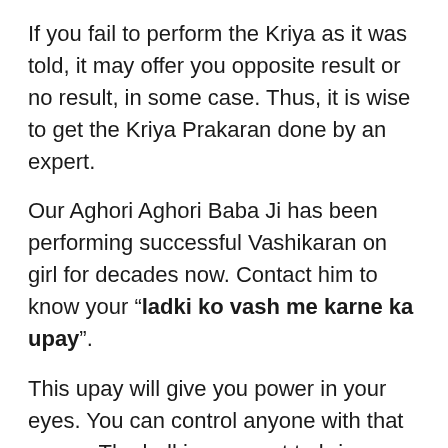If you fail to perform the Kriya as it was told, it may offer you opposite result or no result, in some case. Thus, it is wise to get the Kriya Prakaran done by an expert.
Our Aghori Aghori Baba Ji has been performing successful Vashikaran on girl for decades now. Contact him to know your “ladki ko vash me karne ka upay”.
This upay will give you power in your eyes. You can control anyone with that power. The ladki, you want to bring under your control, will be in your vash by this super power in your eye.
This definite power will enable you to rule her throughout your life. Till the time the girl will be alive, she will be in your control. You can regulate her as per your wish.
At the same for and Vashikaran Puja Vibes can as if m...